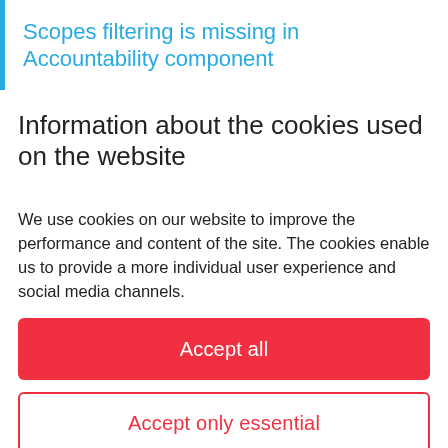Scopes filtering is missing in Accountability component
Information about the cookies used on the website
We use cookies on our website to improve the performance and content of the site. The cookies enable us to provide a more individual user experience and social media channels.
[Figure (other): Red button labeled 'Accept all']
[Figure (other): White button with red border labeled 'Accept only essential']
Settings